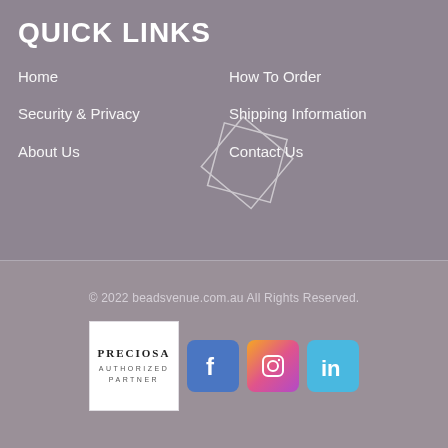QUICK LINKS
Home
How To Order
Security & Privacy
Shipping Information
About Us
Contact Us
[Figure (illustration): Decorative geometric diamond/crystal shape outline in white]
© 2022 beadsvenue.com.au All Rights Reserved.
[Figure (logo): Preciosa Authorized Partner badge - white box with text]
[Figure (logo): Facebook social media icon - blue rounded square with f]
[Figure (logo): Instagram social media icon - gradient rounded square with camera]
[Figure (logo): LinkedIn social media icon - light blue rounded square with in]